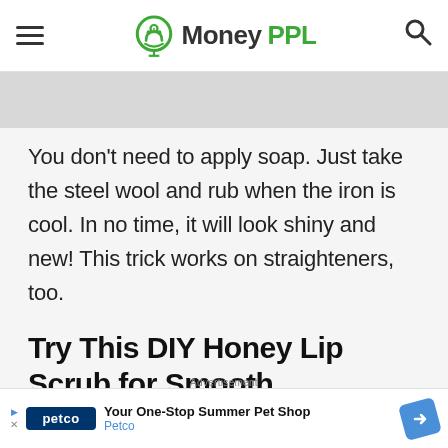MoneyPPL
You don't need to apply soap. Just take the steel wool and rub when the iron is cool. In no time, it will look shiny and new! This trick works on straighteners, too.
Try This DIY Honey Lip Scrub for Smooth Smooches
[Figure (other): Advertisement banner - Petco: Your One-Stop Summer Pet Shop]